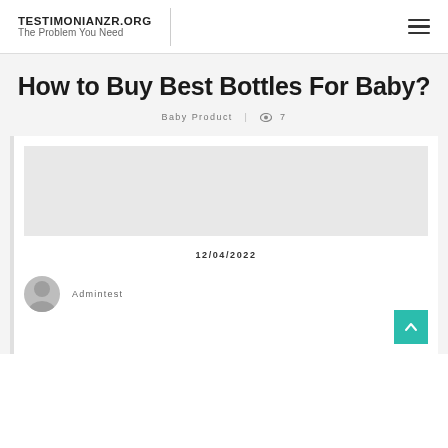TESTIMONIANZR.ORG
The Problem You Need
How to Buy Best Bottles For Baby?
Baby Product  |  👁 7
[Figure (other): Blank/placeholder image area for article thumbnail]
12/04/2022
Admintest